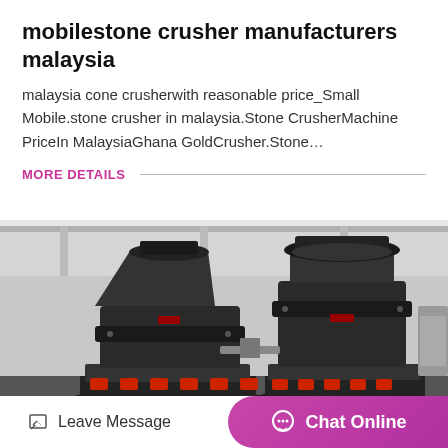mobilestone crusher manufacturers malaysia
malaysia cone crusherwith reasonable price_Small Mobile.stone crusher in malaysia.Stone CrusherMachine PriceIn MalaysiaGhana GoldCrusher.Stone…
MORE DETAILS
[Figure (photo): Two large industrial cone crushers (mobile stone crusher machines) in dark grey/black color with red accents, photographed inside a factory/warehouse setting.]
Leave Message
Chat Online